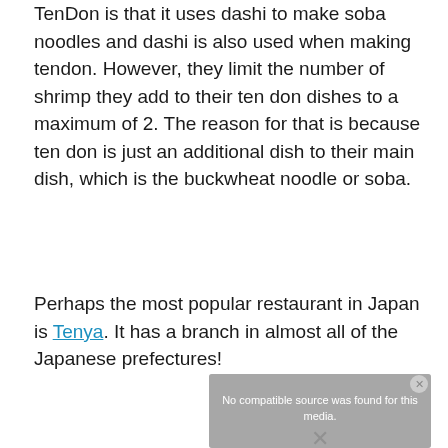TenDon is that it uses dashi to make soba noodles and dashi is also used when making tendon. However, they limit the number of shrimp they add to their ten don dishes to a maximum of 2. The reason for that is because ten don is just an additional dish to their main dish, which is the buckwheat noodle or soba.
Perhaps the most popular restaurant in Japan is Tenya. It has a branch in almost all of the Japanese prefectures!
[Figure (screenshot): Media player overlay showing 'No compatible source was found for this media.' with a close button and X mark over a food background image.]